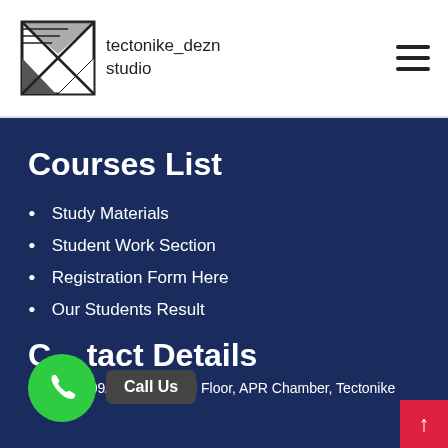tectonike_dezn studio
Courses List
Study Materials
Student Work Section
Registration Form Here
Our Students Result
Contact Details
3-5-909/ B/ 2/ 302, 3rd Floor, APR Chamber, Tectonike De…